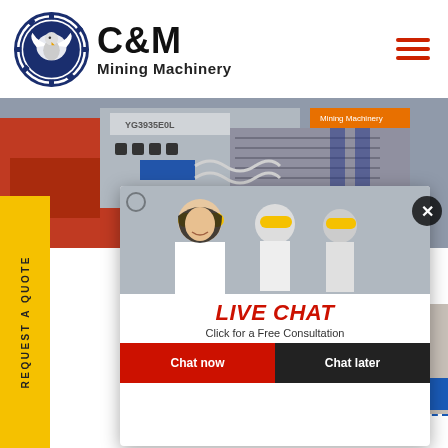[Figure (logo): C&M Mining Machinery logo with eagle/gear emblem in dark blue circle, bold sans-serif text]
[Figure (photo): Hero banner showing mining machinery equipment in industrial setting]
[Figure (screenshot): Live chat popup overlay with workers in hard hats; red LIVE CHAT heading, Chat now / Chat later buttons]
REQUEST A QUOTE
Sulphur Bentonite - Sulfu... Manufacturers & Supplie...
Bhumiraj Sulphur (Bentonite Sulphu... fourth major nutrient, sulphur is inv... plant activities. Following are the m...